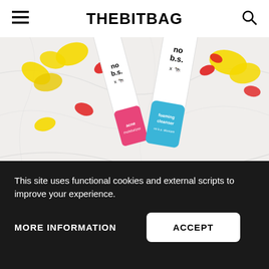THEBITBAG
[Figure (photo): Two No B.S. skincare product bottles (one pink, one blue) lying on a white marble surface surrounded by yellow and red flowers.]
There is a skincare brand for your acne that actually works.
This site uses functional cookies and external scripts to improve your experience.
MORE INFORMATION   ACCEPT